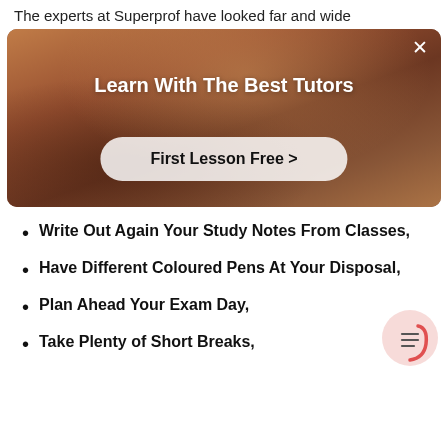The experts at Superprof have looked far and wide
[Figure (photo): Promotional banner with a person in a red top in a room background. White bold text reads 'Learn With The Best Tutors' and a button reads 'First Lesson Free >']
Write Out Again Your Study Notes From Classes,
Have Different Coloured Pens At Your Disposal,
Plan Ahead Your Exam Day,
Take Plenty of Short Breaks,